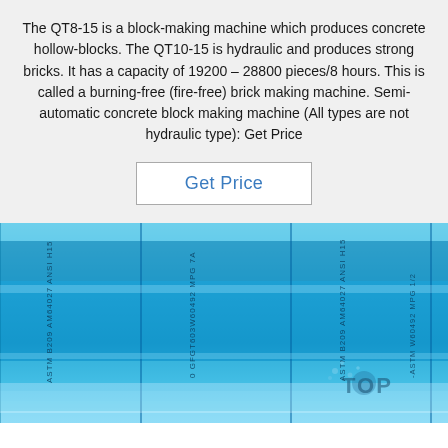The QT8-15 is a block-making machine which produces concrete hollow-blocks. The QT10-15 is hydraulic and produces strong bricks. It has a capacity of 19200 – 28800 pieces/8 hours. This is called a burning-free (fire-free) brick making machine. Semi-automatic concrete block making machine (All types are not hydraulic type): Get Price
Get Price
[Figure (photo): Close-up photo of blue-tinted metal tubes or pipes with text markings including ASTM B209, AM64027 ANSI H15 and other specifications stamped along their length. A 'TOP' watermark is visible in the lower right corner.]